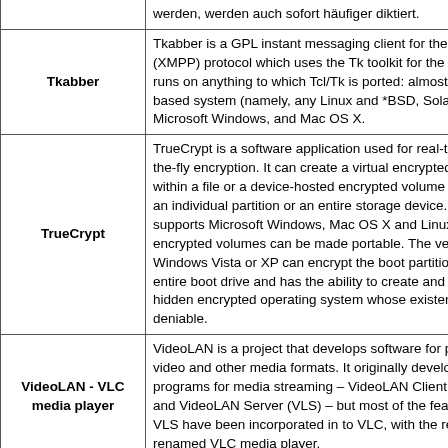| Name | Description |
| --- | --- |
|  | werden, werden auch sofort häufiger diktiert. |
| Tkabber | Tkabber is a GPL instant messaging client for the J (XMPP) protocol which uses the Tk toolkit for the G runs on anything to which Tcl/Tk is ported: almost a based system (namely, any Linux and *BSD, Solan Microsoft Windows, and Mac OS X. |
| TrueCrypt | TrueCrypt is a software application used for real-tin the-fly encryption. It can create a virtual encrypted within a file or a device-hosted encrypted volume c an individual partition or an entire storage device. I supports Microsoft Windows, Mac OS X and Linux encrypted volumes can be made portable. The ven Windows Vista or XP can encrypt the boot partition entire boot drive and has the ability to create and n hidden encrypted operating system whose existenc deniable. |
| VideoLAN - VLC media player | VideoLAN is a project that develops software for ph video and other media formats. It originally develo programs for media streaming – VideoLAN Client ( and VideoLAN Server (VLS) – but most of the feat VLS have been incorporated in to VLC, with the re renamed VLC media player. |